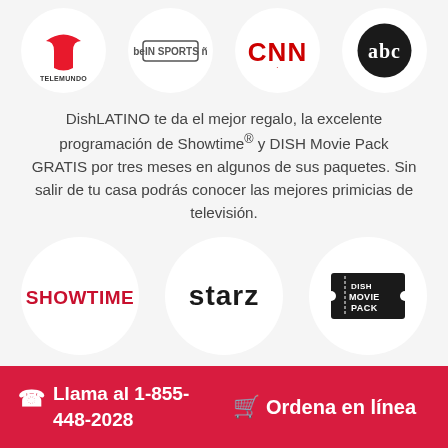[Figure (logo): Four channel logos in circles: Telemundo, beIN Sports ñ, CNN, ABC]
DishLATINO te da el mejor regalo, la excelente programación de Showtime® y DISH Movie Pack GRATIS por tres meses en algunos de sus paquetes. Sin salir de tu casa podrás conocer las mejores primicias de televisión.
[Figure (logo): Three channel logos in circles: Showtime, Starz, DISH Movie Pack]
Llama al 1-855-448-2028  Ordena en línea